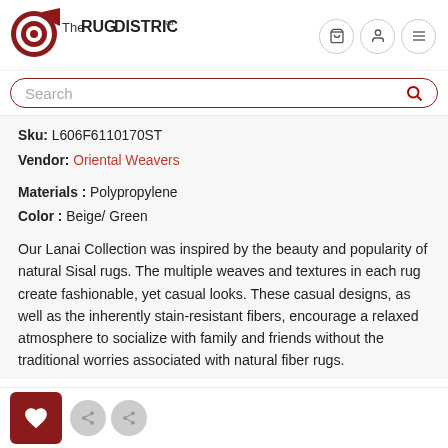[Figure (logo): The Rug District logo with red swoosh and text]
Search
Sku: L606F6110170ST
Vendor: Oriental Weavers
Materials : Polypropylene
Color : Beige/ Green
Our Lanai Collection was inspired by the beauty and popularity of natural Sisal rugs. The multiple weaves and textures in each rug create fashionable, yet casual looks. These casual designs, as well as the inherently stain-resistant fibers, encourage a relaxed atmosphere to socialize with family and friends without the traditional worries associated with natural fiber rugs.